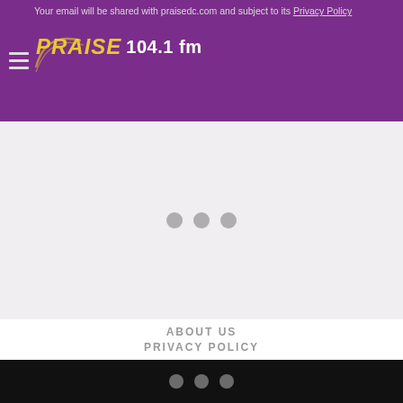Your email will be shared with praisedc.com and subject to its Privacy Policy
[Figure (logo): Praise 104.1 fm radio station logo with yellow italic text and white frequency text on purple background, with hamburger menu icon]
[Figure (other): Gray loading area with three gray dots centered, on light gray background]
ABOUT US
PRIVACY POLICY
[Figure (other): Black bar with three gray dots centered]